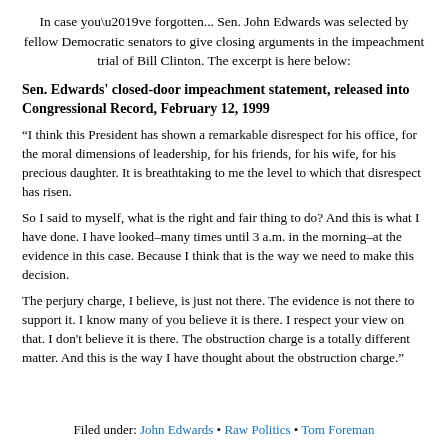In case you’ve forgotten... Sen. John Edwards was selected by fellow Democratic senators to give closing arguments in the impeachment trial of Bill Clinton. The excerpt is here below:
Sen. Edwards' closed-door impeachment statement, released into Congressional Record, February 12, 1999
“I think this President has shown a remarkable disrespect for his office, for the moral dimensions of leadership, for his friends, for his wife, for his precious daughter. It is breathtaking to me the level to which that disrespect has risen.
So I said to myself, what is the right and fair thing to do? And this is what I have done. I have looked–many times until 3 a.m. in the morning–at the evidence in this case. Because I think that is the way we need to make this decision.
The perjury charge, I believe, is just not there. The evidence is not there to support it. I know many of you believe it is there. I respect your view on that. I don't believe it is there. The obstruction charge is a totally different matter. And this is the way I have thought about the obstruction charge.”
Filed under: John Edwards • Raw Politics • Tom Foreman